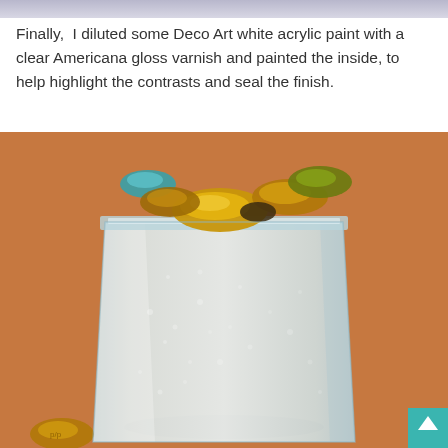[Figure (photo): Top strip of a previous photo, slightly blurred purplish/grey tones]
Finally,  I diluted some Deco Art white acrylic paint with a clear Americana gloss varnish and painted the inside, to help highlight the contrasts and seal the finish.
[Figure (photo): Close-up photo of a frosted/milky white painted glass vase or container filled with amber/golden and green glass gem stones/pebbles, sitting on an orange/terracotta surface. A small amber glass gem is visible in the bottom left corner.]